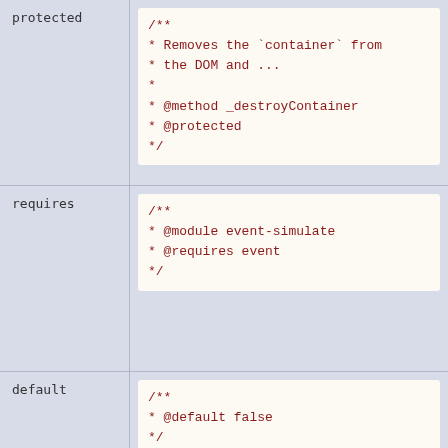| Attribute | Comment |
| --- | --- |
| protected | /**
 * Removes the `container` from
 * the DOM and ...
 *
 * @method _destroyContainer
 * @protected
 */ |
| requires | /**
 * @module event-simulate
 * @requires event
 */ |
| default | /**
 * @default false
 */ |